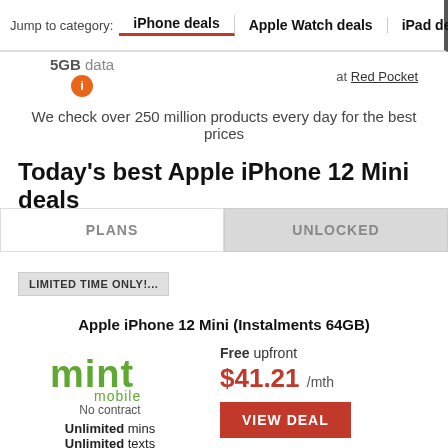Jump to category: iPhone deals | Apple Watch deals | iPad deals
5GB data
at Red Pocket
We check over 250 million products every day for the best prices
Today's best Apple iPhone 12 Mini deals
PLANS   UNLOCKED
LIMITED TIME ONLY!...
Apple iPhone 12 Mini (Instalments 64GB)
Mint Mobile
No contract
Unlimited mins
Unlimited texts
Free upfront
$41.21 /mth
VIEW DEAL